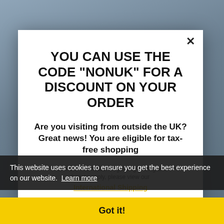[Figure (photo): Background photo of person wearing blue head covering, muted/darkened]
YOU CAN USE THE CODE "NONUK" FOR A DISCOUNT ON YOUR ORDER
Are you visiting from outside the UK? Great news! You are eligible for tax-free shopping
For more information regarding pricing and how to apply, please view our International Shipping
This website uses cookies to ensure you get the best experience on our website. Learn more
Got it!
exceptional warmth, weight and durability.